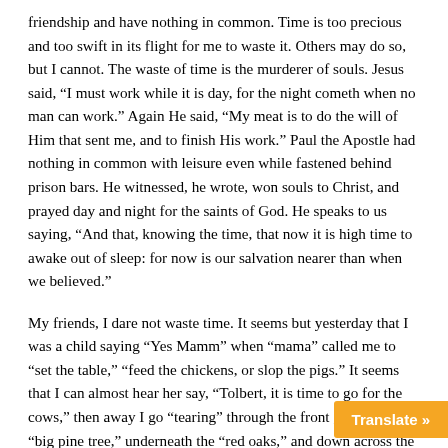friendship and have nothing in common. Time is too precious and too swift in its flight for me to waste it. Others may do so, but I cannot. The waste of time is the murderer of souls. Jesus said, “I must work while it is day, for the night cometh when no man can work.” Again He said, “My meat is to do the will of Him that sent me, and to finish His work.” Paul the Apostle had nothing in common with leisure even while fastened behind prison bars. He witnessed, he wrote, won souls to Christ, and prayed day and night for the saints of God. He speaks to us saying, “And that, knowing the time, that now it is high time to awake out of sleep: for now is our salvation nearer than when we believed.”
My friends, I dare not waste time. It seems but yesterday that I was a child saying “Yes Mamm” when “mama” called me to “set the table,” “feed the chickens, or slop the pigs.” It seems that I can almost hear her say, “Tolbert, it is time to go for the cows,” then away I go “tearing” through the front gate past the “big pine tree,” underneath the “red oaks,” and down across the “pasture” yelling like a wil... Rover” is in the lead barking out his warni...